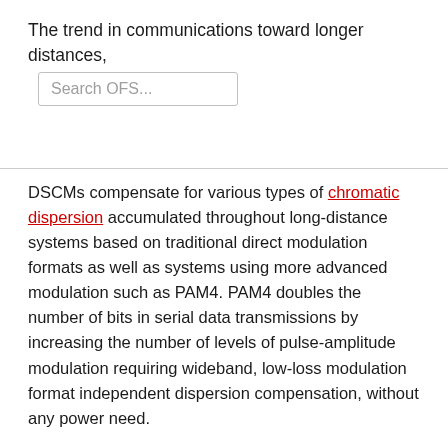The trend in communications toward longer distances,
Search OFS...
DSCMs compensate for various types of chromatic dispersion accumulated throughout long-distance systems based on traditional direct modulation formats as well as systems using more advanced modulation such as PAM4. PAM4 doubles the number of bits in serial data transmissions by increasing the number of levels of pulse-amplitude modulation requiring wideband, low-loss modulation format independent dispersion compensation, without any power need.
OFS is a market leader in the design and manufacture of standard and custom DSCMs. Our fixed broadband, reconfigurable, and tunable colorless modules round out a